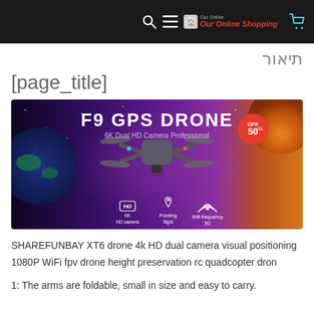Our Online Shopping (navigation bar with search, menu, logo, cart)
תיאור
[page_title]
[Figure (photo): F9 GPS DRONE advertisement image showing a drone (SHAREFUNBAY XT6) against a space/galaxy background with text: F9 GPS DRONE, 6K Dual HD Camera Professional, OFF 50%, HD 6K HD camera, Pointing flight, Wifi frequency 5G]
SHAREFUNBAY XT6 drone 4k HD dual camera visual positioning 1080P WiFi fpv drone height preservation rc quadcopter dron
1: The arms are foldable, small in size and easy to carry.